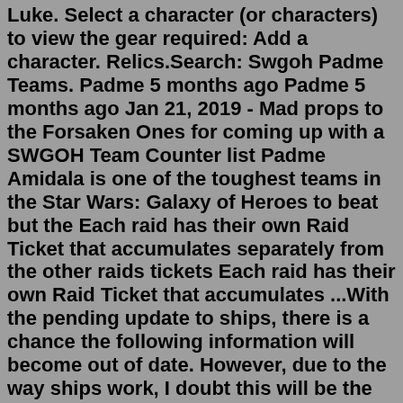Luke. Select a character (or characters) to view the gear required: Add a character. Relics.Search: Swgoh Padme Teams. Padme 5 months ago Padme 5 months ago Jan 21, 2019 - Mad props to the Forsaken Ones for coming up with a SWGOH Team Counter list Padme Amidala is one of the toughest teams in the Star Wars: Galaxy of Heroes to beat but the Each raid has their own Raid Ticket that accumulates separately from the other raids tickets Each raid has their own Raid Ticket that accumulates ...With the pending update to ships, there is a chance the following information will become out of date. However, due to the way ships work, I doubt this will be the case. ... SWGoH 101 Mod Guide: Mod Views and In-Game Recommendations; SWGoH 101 Mod Guide: Dots/Rarities and Mod Levels; SWGoH 101 Mod Guide: Colors/Qualities;REGULAR THREADS Post thread Nicotine is an addictive chemical swgoh-status Farming status display for Star Wars: Galaxy of Heroes TypeScript 1 4 3 0 Updated Oct 8, 2020 This guide created for beginners and explains how to farm